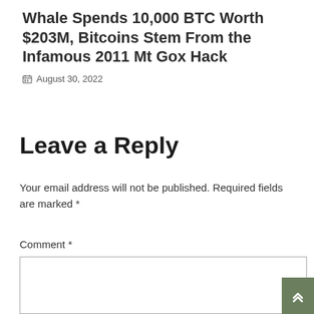Whale Spends 10,000 BTC Worth $203M, Bitcoins Stem From the Infamous 2011 Mt Gox Hack
August 30, 2022
Leave a Reply
Your email address will not be published. Required fields are marked *
Comment *